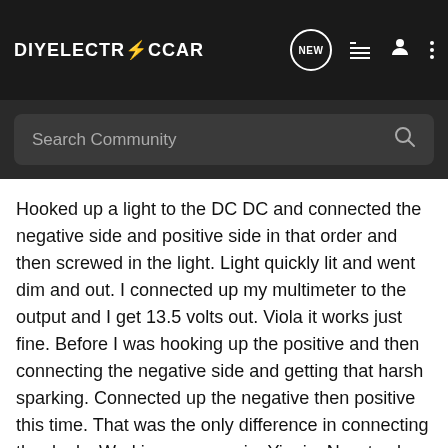DIYELECTRICCAR
Search Community
Hooked up a light to the DC DC and connected the negative side and positive side in that order and then screwed in the light. Light quickly lit and went dim and out. I connected up my multimeter to the output and I get 13.5 volts out. Viola it works just fine. Before I was hooking up the positive and then connecting the negative side and getting that harsh sparking. Connected up the negative then positive this time. That was the only difference in connecting the dc dc. Working once again. Yippie. Now to clean up behind the dash. Got some wayward wires to figure out and to replace the amp and volt meter wires to properly work.
Moving once again forward. 🙂